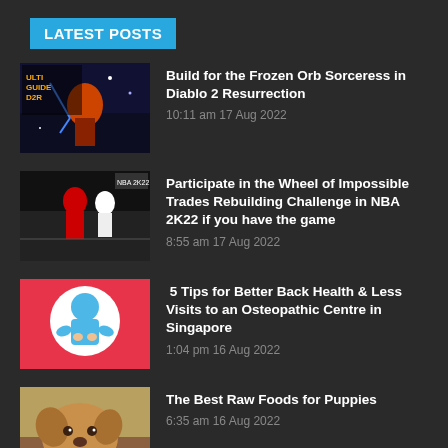LATEST POSTS
Build for the Frozen Orb Sorceress in Diablo 2 Resurrection
10:11 am 17 Aug 2022
Participate in the Wheel of Impossible Trades Rebuilding Challenge in NBA 2K22 if you have the game
8:55 am 17 Aug 2022
5 Tips for Better Back Health & Less Visits to an Osteopathic Centre in Singapore
1:04 pm 16 Aug 2022
The Best Raw Foods for Puppies
6:35 am 16 Aug 2022